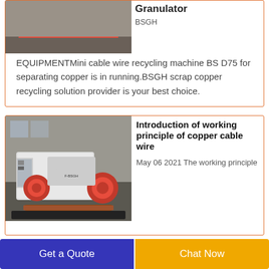[Figure (photo): Red industrial metal frame machine/granulator on concrete floor]
Granulator
BSGH
EQUIPMENTMini cable wire recycling machine BS D75 for separating copper is in running.BSGH scrap copper recycling solution provider is your best choice.
[Figure (photo): Large white and red copper cable wire recycling machine in industrial warehouse]
Introduction of working principle of copper cable wire
May 06 2021  The working principle of copper cable wire recycling machine adopts the air separation and electrostatic separation to separate copper